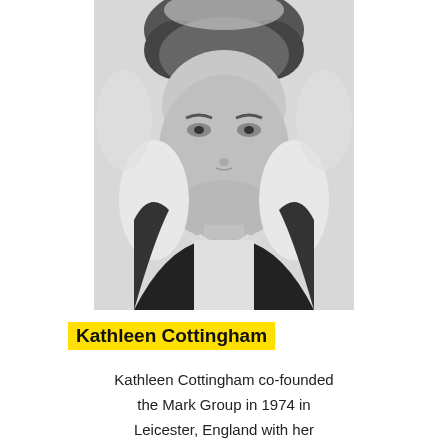[Figure (photo): Black and white photograph of Kathleen Cottingham, an elderly woman facing the camera, wearing a necklace, with curly/wavy hair.]
Kathleen Cottingham
Kathleen Cottingham co-founded the Mark Group in 1974 in Leicester, England with her